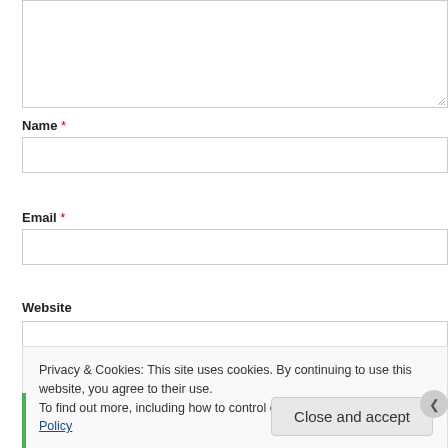[Figure (screenshot): Textarea input box (top portion visible, partially cropped at top), with a resize handle at the bottom right corner.]
Name *
[Figure (screenshot): Name text input field, empty, with a border.]
Email *
[Figure (screenshot): Email text input field, empty, with a border.]
Website
[Figure (screenshot): Website text input field, empty, with a border, partially overlaid by cookie consent banner.]
Privacy & Cookies: This site uses cookies. By continuing to use this website, you agree to their use.
To find out more, including how to control cookies, see here: Cookie Policy
Close and accept